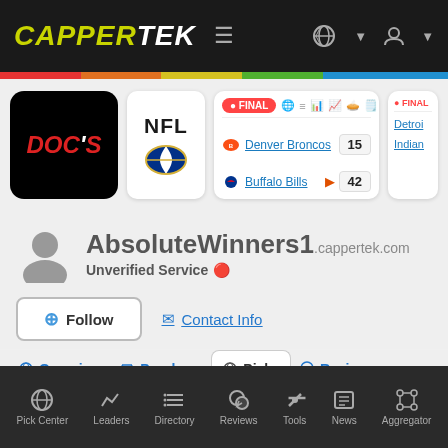CAPPERTEK
[Figure (screenshot): NFL score card: Denver Broncos 15, Buffalo Bills 42 (FINAL). Second partial score card showing Detroit and Indiana teams.]
AbsoluteWinners1.cappertek.com
Unverified Service
Follow | Contact Info
Overview | Purchase | Picks | Reviews
Pick Center | Leaders | Directory | Reviews | Tools | News | Aggregator